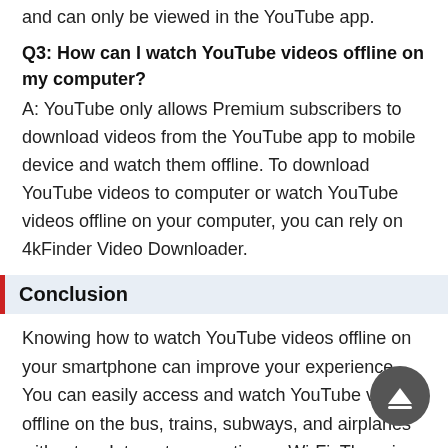and can only be viewed in the YouTube app.
Q3: How can I watch YouTube videos offline on my computer?
A: YouTube only allows Premium subscribers to download videos from the YouTube app to mobile device and watch them offline. To download YouTube videos to computer or watch YouTube videos offline on your computer, you can rely on 4kFinder Video Downloader.
Conclusion
Knowing how to watch YouTube videos offline on your smartphone can improve your experience. You can easily access and watch YouTube videos offline on the bus, trains, subways, and airplanes without an Internet connection or Wi-Fi. There is no doubt that 4kFinder Video Downloader is the best tool to download online videos